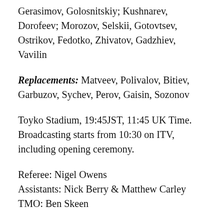Gerasimov, Golosnitskiy; Kushnarev, Dorofeev; Morozov, Selskii, Gotovtsev, Ostrikov, Fedotko, Zhivatov, Gadzhiev, Vavilin
Replacements: Matveev, Polivalov, Bitiev, Garbuzov, Sychev, Perov, Gaisin, Sozonov
Toyko Stadium, 19:45JST, 11:45 UK Time. Broadcasting starts from 10:30 on ITV, including opening ceremony.
Referee: Nigel Owens
Assistants: Nick Berry & Matthew Carley
TMO: Ben Skeen